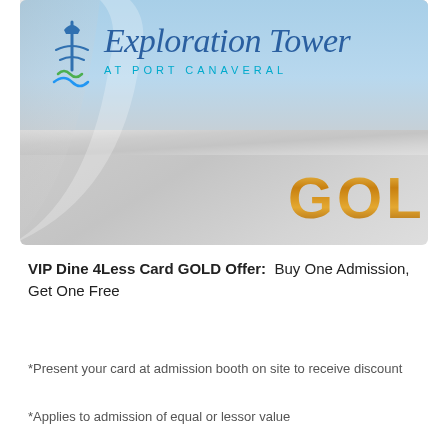[Figure (illustration): Exploration Tower at Port Canaveral membership card with logo at top and 'GOLD' text in gold/yellow color on a silver-grey gradient background]
VIP Dine 4Less Card GOLD Offer:  Buy One Admission, Get One Free
*Present your card at admission booth on site to receive discount
*Applies to admission of equal or lessor value